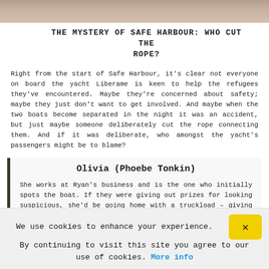[Figure (photo): Top portion of a photograph showing people on a boat/yacht, cropped at the top of the page]
THE MYSTERY OF SAFE HARBOUR: WHO CUT THE ROPE?
Right from the start of Safe Harbour, it's clear not everyone on board the yacht Liberame is keen to help the refugees they've encountered. Maybe they're concerned about safety; maybe they just don't want to get involved. And maybe when the two boats become separated in the night it was an accident, but just maybe someone deliberately cut the rope connecting them. And if it was deliberate, who amongst the yacht's passengers might be to blame?
Olivia (Phoebe Tonkin)
She works at Ryan’s business and is the one who initially spots the boat. If they were giving out prizes for looking suspicious, she’d be going home with a truckload – giving the boat the death stare is her main hobby. When they’re tossing up what to do, she asks if they “even have enough food” to help, which isn’t a positive sign. On the whole, she doesn’t say much, which is definitely the approach you’d take if you had an evil scheme in mind.
We use cookies to enhance your experience. By continuing to visit this site you agree to our use of cookies. More info